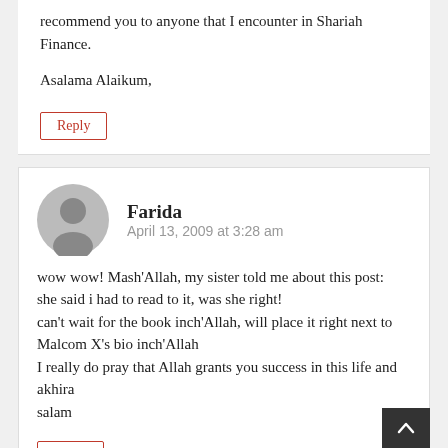recommend you to anyone that I encounter in Shariah Finance.
Asalama Alaikum,
Reply
Farida
April 13, 2009 at 3:28 am
wow wow! Mash'Allah, my sister told me about this post:
she said i had to read to it, was she right!
can't wait for the book inch'Allah, will place it right next to Malcom X's bio inch'Allah
I really do pray that Allah grants you success in this life and akhira
salam
Reply